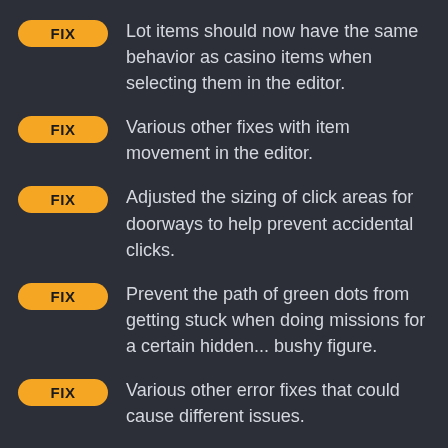FIX — Lot items should now have the same behavior as casino items when selecting them in the editor.
FIX — Various other fixes with item movement in the editor.
FIX — Adjusted the sizing of click areas for doorways to help prevent accidental clicks.
FIX — Prevent the path of green dots from getting stuck when doing missions for a certain hidden... bushy figure.
FIX — Various other error fixes that could cause different issues.